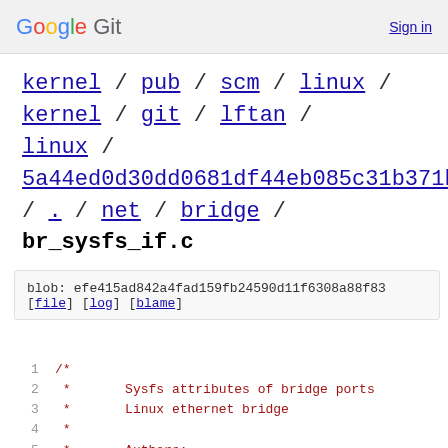Google Git  Sign in
kernel / pub / scm / linux / kernel / git / lftan / linux / 5a44ed0d30dd0681df44eb085c31b371b7fe84fe / . / net / bridge / br_sysfs_if.c
blob: efe415ad842a4fad159fb24590d11f6308a88f83
[file] [log] [blame]
1  /*
2   *       Sysfs attributes of bridge ports
3   *       Linux ethernet bridge
4   *
5   *       Authors:
6   *       Stephen Hemminger        <shemmi
7   *
8   *       This program is free software; you can